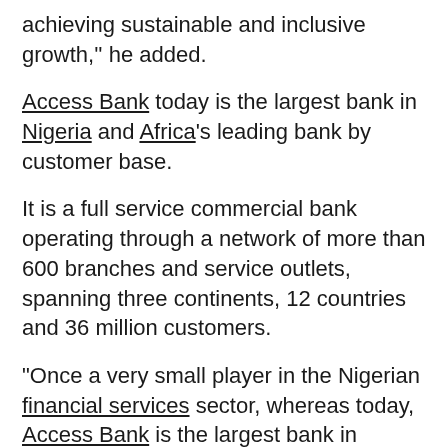achieving sustainable and inclusive growth," he added.
Access Bank today is the largest bank in Nigeria and Africa's leading bank by customer base.
It is a full service commercial bank operating through a network of more than 600 branches and service outlets, spanning three continents, 12 countries and 36 million customers.
“Once a very small player in the Nigerian financial services sector, whereas today, Access Bank is the largest bank in Nigeria with a wide array of financial services,” Linda Broekhuizen, CIO at FMO, said.